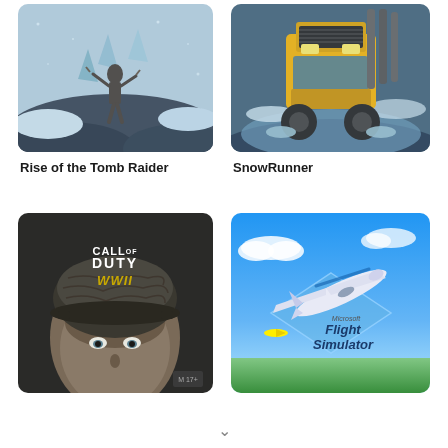[Figure (illustration): Rise of the Tomb Raider game cover art showing a warrior figure in a snowy, icy landscape]
Rise of the Tomb Raider
[Figure (illustration): SnowRunner game cover art showing a large yellow truck driving through snowy terrain]
SnowRunner
[Figure (illustration): Call of Duty WWII game cover showing a soldier with helmet close-up and CALL OF DUTY WWII text]
[Figure (illustration): Microsoft Flight Simulator game cover showing a white passenger aircraft in blue sky with Microsoft Flight Simulator text]